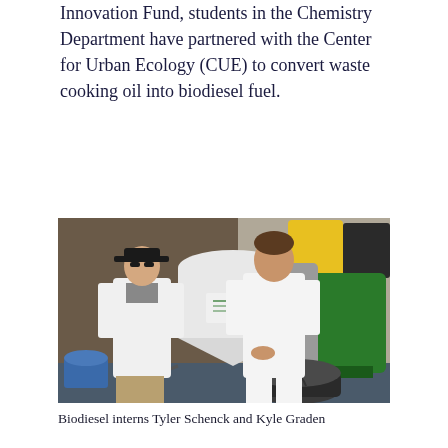Innovation Fund, students in the Chemistry Department have partnered with the Center for Urban Ecology (CUE) to convert waste cooking oil into biodiesel fuel.
[Figure (photo): Two young men in white lab coats standing in a biodiesel production facility. On the left is a student wearing a dark baseball cap and khaki shorts. In the center-background is a large white conical tank with a Springboard Biodiesel logo. On the right side are green cylindrical tanks and a yellow bucket. A dark round container sits in the foreground right.]
Biodiesel interns Tyler Schenck and Kyle Graden